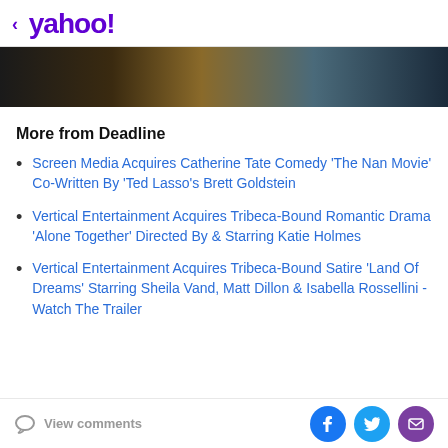< yahoo!
[Figure (photo): Dark gradient hero image banner with warm brown center fading to dark grey/teal on sides]
More from Deadline
Screen Media Acquires Catherine Tate Comedy 'The Nan Movie' Co-Written By 'Ted Lasso's Brett Goldstein
Vertical Entertainment Acquires Tribeca-Bound Romantic Drama 'Alone Together' Directed By & Starring Katie Holmes
Vertical Entertainment Acquires Tribeca-Bound Satire 'Land Of Dreams' Starring Sheila Vand, Matt Dillon & Isabella Rossellini - Watch The Trailer
View comments